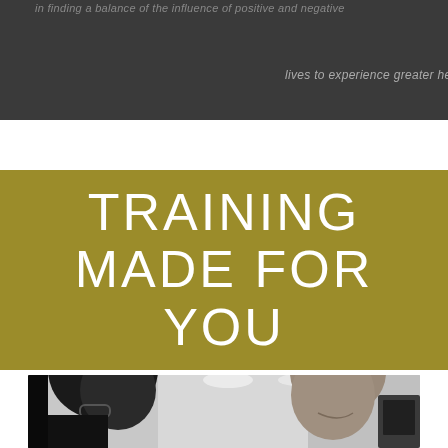in finding a balance of the influence of positive and negative lives to experience greater health and wellness
[Figure (logo): Body by Jean François logo: gold square with JF monogram, white text logo name on dark navigation bar]
TRAINING MADE FOR YOU
[Figure (photo): Black and white photo of a woman with dark hair and glasses on the left, and a smiling man on the right, in a gym setting]